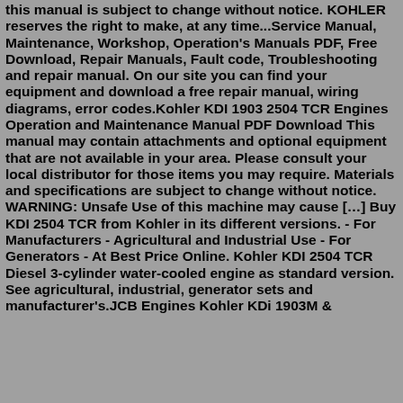this manual is subject to change without notice. KOHLER reserves the right to make, at any time...Service Manual, Maintenance, Workshop, Operation's Manuals PDF, Free Download, Repair Manuals, Fault code, Troubleshooting and repair manual. On our site you can find your equipment and download a free repair manual, wiring diagrams, error codes.Kohler KDI 1903 2504 TCR Engines Operation and Maintenance Manual PDF Download This manual may contain attachments and optional equipment that are not available in your area. Please consult your local distributor for those items you may require. Materials and specifications are subject to change without notice. WARNING: Unsafe Use of this machine may cause […] Buy KDI 2504 TCR from Kohler in its different versions. - For Manufacturers - Agricultural and Industrial Use - For Generators - At Best Price Online. Kohler KDI 2504 TCR Diesel 3-cylinder water-cooled engine as standard version. See agricultural, industrial, generator sets and manufacturer's.JCB Engines Kohler KDi 1903M &